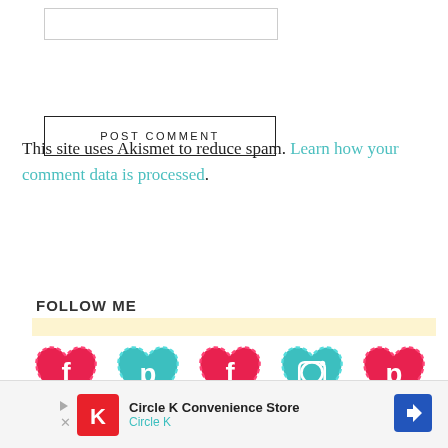[Figure (other): Input text box (form field)]
POST COMMENT
This site uses Akismet to reduce spam. Learn how your comment data is processed.
FOLLOW ME
[Figure (infographic): Five social media heart icons: Facebook (pink), Pinterest (teal), Facebook (pink), Instagram (teal), Pinterest (pink)]
[Figure (other): Circle K Convenience Store advertisement banner]